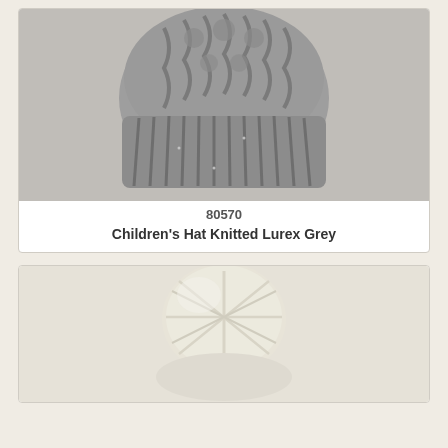[Figure (photo): Grey cable-knit children's beanie hat with ribbed cuff, shown from slightly above]
80570
Children's Hat Knitted Lurex Grey
[Figure (photo): Cream/white knitted children's hat with a large pom-pom on top, shown from above]